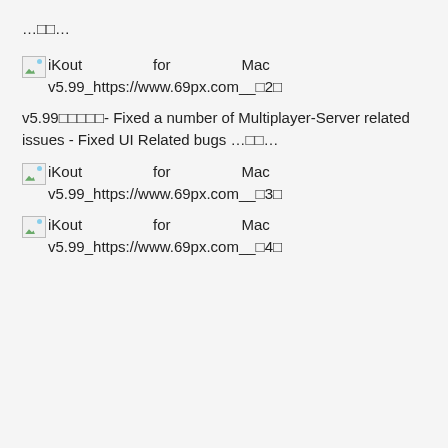…□□…
[Figure (photo): Broken image placeholder for iKout for Mac v5.99_https://www.69px.com__□2□]
v5.99□□□□□- Fixed a number of Multiplayer-Server related issues - Fixed UI Related bugs …□□…
[Figure (photo): Broken image placeholder for iKout for Mac v5.99_https://www.69px.com__□3□]
[Figure (photo): Broken image placeholder for iKout for Mac v5.99_https://www.69px.com__□4□]